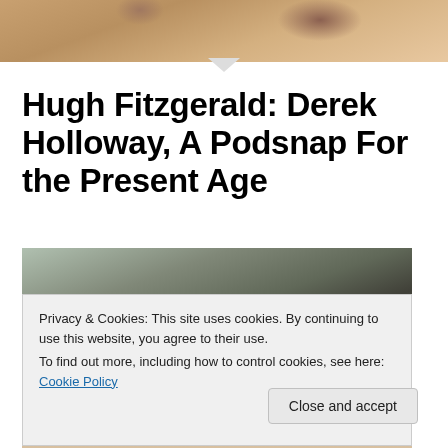[Figure (photo): Partial top image showing what appears to be feet or hands on a wooden/earthy surface, cropped at top of page]
Hugh Fitzgerald: Derek Holloway, A Podsnap For the Present Age
[Figure (photo): Photo of a person or animal outdoors near a stone/pebbled wall, partially obscured by a cookie consent banner]
Privacy & Cookies: This site uses cookies. By continuing to use this website, you agree to their use.
To find out more, including how to control cookies, see here: Cookie Policy
Close and accept
[Figure (photo): Bottom of page shows partial photo, appears to be a person's face]